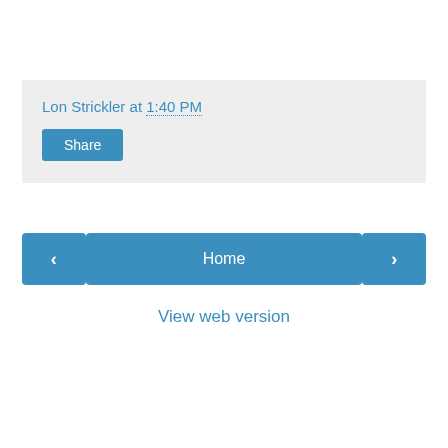Lon Strickler at 1:40 PM
Share
‹
Home
›
View web version